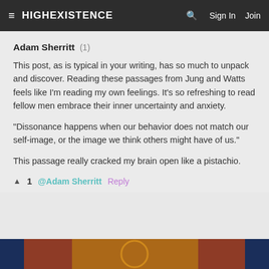≡ HIGHEXISTENCE  🔍  Sign In  Join
Adam Sherritt (1)
This post, as is typical in your writing, has so much to unpack and discover. Reading these passages from Jung and Watts feels like I'm reading my own feelings. It's so refreshing to read fellow men embrace their inner uncertainty and anxiety.
“Dissonance happens when our behavior does not match our self-image, or the image we think others might have of us.”
This passage really cracked my brain open like a pistachio.
▲ 1  @Adam Sherritt  Reply
[Figure (photo): Partial decorative image visible at bottom of page, colorful circular/ornamental design]